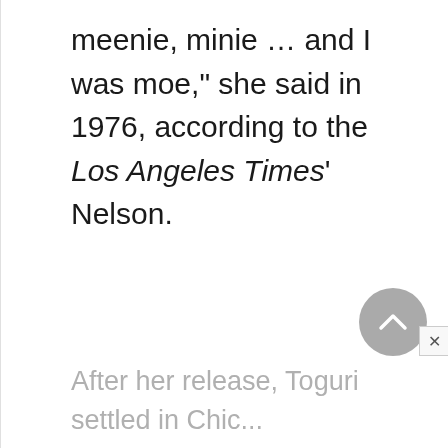meenie, minie … and I was moe," she said in 1976, according to the Los Angeles Times' Nelson.
After her release, Toguri settled in Chic...